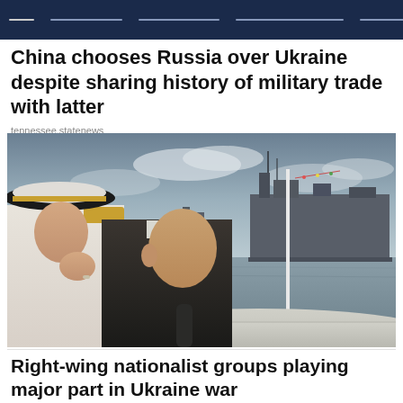Navigation bar
China chooses Russia over Ukraine despite sharing history of military trade with latter
tennessee.statenews
[Figure (photo): Two men on a boat reviewing a naval fleet. A military officer in white admiral uniform saluting on the left, and a man in dark suit on the right, with warships visible in the background on open water.]
Right-wing nationalist groups playing major part in Ukraine war